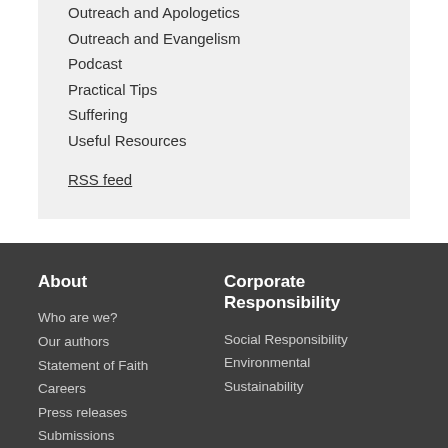Outreach and Apologetics
Outreach and Evangelism
Podcast
Practical Tips
Suffering
Useful Resources
RSS feed
About
Who are we?
Our authors
Statement of Faith
Careers
Press releases
Submissions
Corporate Responsibility
Social Responsibility
Environmental Sustainability